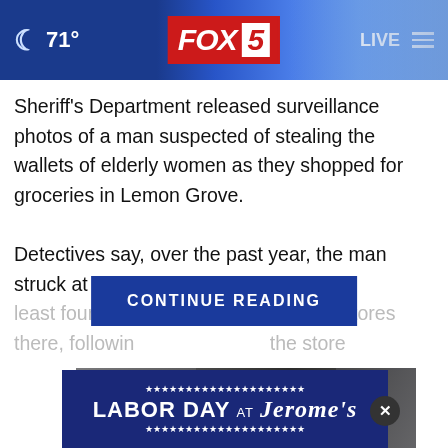🌙 71° | FOX 5 | LIVE
Sheriff's Department released surveillance photos of a man suspected of stealing the wallets of elderly women as they shopped for groceries in Lemon Grove.
Detectives say, over the past year, the man struck at least four times at Sprouts stores there, following customers into the store...
[Figure (screenshot): CONTINUE READING button overlay in blue]
[Figure (photo): Person holding their knee, red highlight indicating pain, with close X button]
[Figure (other): LABOR DAY AT Jerome's advertisement banner with stars border on dark blue background]